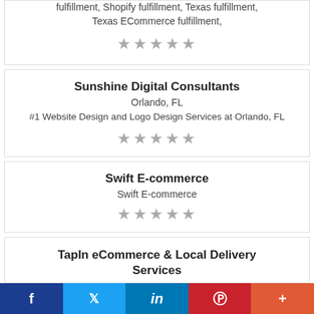fulfillment, Shopify fulfillment, Texas fulfillment, Texas ECommerce fulfillment,
★★★★★
Sunshine Digital Consultants
Orlando, FL
#1 Website Design and Logo Design Services at Orlando, FL
★★★★★
Swift E-commerce
Swift E-commerce
★★★★★
TapIn eCommerce & Local Delivery Services
f  🐦  in  P  +